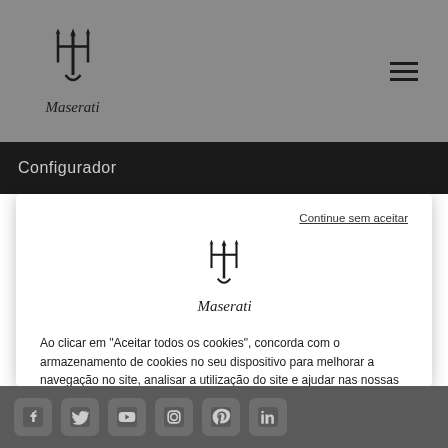[Figure (logo): Maserati trident logo and wordmark in header]
Configurador
Continue sem aceitar
[Figure (logo): Maserati trident logo and wordmark in cookie modal]
Ao clicar em "Aceitar todos os cookies", concorda com o armazenamento de cookies no seu dispositivo para melhorar a navegação no site, analisar a utilização do site e ajudar nas nossas iniciativas de marketing. Cookie Policy
Definições de cookies
Aceitar todos os cookies
[Figure (illustration): Social media icons row in footer: Facebook, Twitter, YouTube, Instagram, Pinterest, LinkedIn]